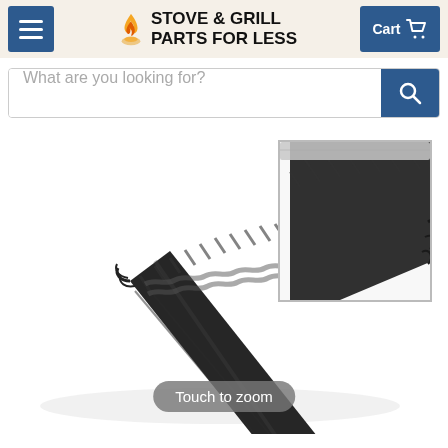[Figure (logo): Stove & Grill Parts For Less website header with hamburger menu button, flame logo icon, brand name text, and cart button]
[Figure (screenshot): Search bar with placeholder text 'What are you looking for?' and blue search button with magnifying glass icon]
[Figure (photo): Product photo of a black woven/braided gasket rope material shown diagonally, with a zoomed inset in the upper right corner and a 'Touch to zoom' badge overlay]